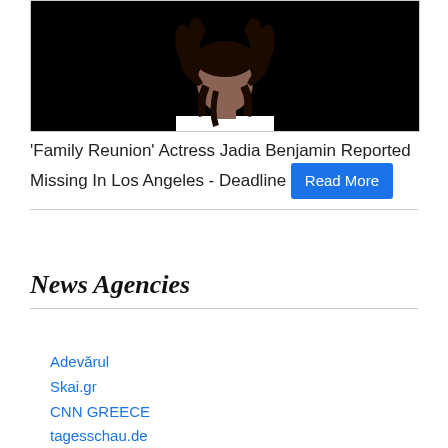[Figure (photo): A woman with long curly dark hair wearing a white and red raglan sleeve shirt, photographed against a black background]
'Family Reunion' Actress Jadia Benjamin Reported Missing In Los Angeles - Deadline Read More
News Agencies
Adevărul
Skai.gr
CNN GREECE
tagesschau.de